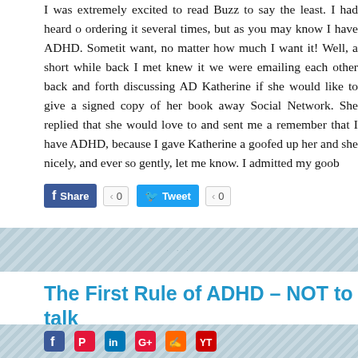I was extremely excited to read Buzz to say the least. I had heard of ordering it several times, but as you may know I have ADHD. Someti want, no matter how much I want it! Well, a short while back I met knew it we were emailing each other back and forth discussing AD Katherine if she would like to give a signed copy of her book away Social Network. She replied that she would love to and sent me a remember that I have ADHD, because I gave Katherine a goofed up her and she nicely, and ever so gently, let me know. I admitted my goo
[Figure (screenshot): Social sharing buttons: Facebook Share with count 0, Twitter Tweet with count 0, green Share button with New count]
The First Rule of ADHD – NOT to talk and why we should Change it
[Figure (screenshot): Bottom strip with social sharing icons on a light blue-grey background]